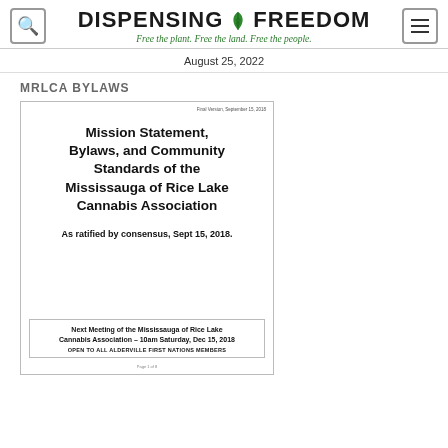DISPENSING FREEDOM — Free the plant. Free the land. Free the people.
August 25, 2022
MRLCA BYLAWS
[Figure (other): Cover page of document titled 'Mission Statement, Bylaws, and Community Standards of the Mississauga of Rice Lake Cannabis Association. As ratified by consensus, Sept 15, 2018. Next Meeting of the Mississauga of Rice Lake Cannabis Association – 10am Saturday, Dec 15, 2018 OPEN TO ALL ALDERVILLE FIRST NATIONS MEMBERS. Page 1 of 8. Final Version, September 15, 2018.']